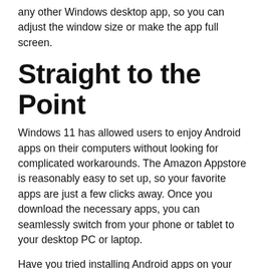any other Windows desktop app, so you can adjust the window size or make the app full screen.
Straight to the Point
Windows 11 has allowed users to enjoy Android apps on their computers without looking for complicated workarounds. The Amazon Appstore is reasonably easy to set up, so your favorite apps are just a few clicks away. Once you download the necessary apps, you can seamlessly switch from your phone or tablet to your desktop PC or laptop.
Have you tried installing Android apps on your PC? Which app did you download first? Let us know in the comments section below